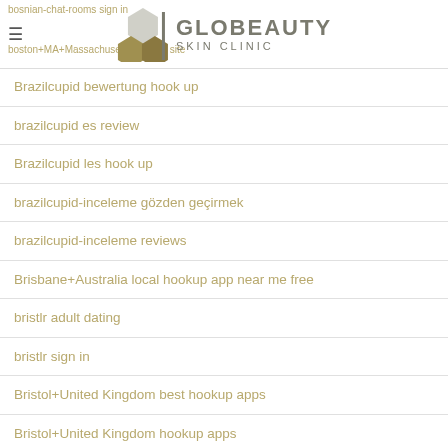bosnian-chat-rooms sign in | boston+MA+Massachusetts hookup site | GLOBEAUTY SKIN CLINIC
Brazilcupid bewertung hook up
brazilcupid es review
Brazilcupid les hook up
brazilcupid-inceleme gözden geçirmek
brazilcupid-inceleme reviews
Brisbane+Australia local hookup app near me free
bristlr adult dating
bristlr sign in
Bristol+United Kingdom best hookup apps
Bristol+United Kingdom hookup apps